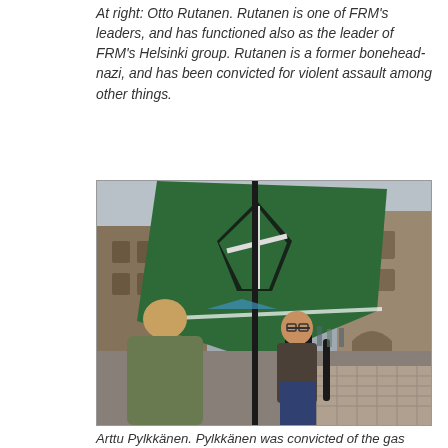At right: Otto Rutanen. Rutanen is one of FRM's leaders, and has functioned also as the leader of FRM's Helsinki group. Rutanen is a former bonehead-nazi, and has been convicted for violent assault among other things.
[Figure (photo): Outdoor photo showing two men near a large green flag with a white and black symbol, standing on a cobblestone plaza in front of brick buildings. One man faces away from the camera, wearing an olive jacket. The other man faces forward, wearing glasses and a dark jacket with blue jeans. A metal pole holds the flag. The setting appears to be Helsinki.]
Arttu Pylkkänen. Pylkkänen was convicted of the gas attack on the Helsinki Pride Parade in 2010. He has taken part in FRM's activism almost from its foundation.